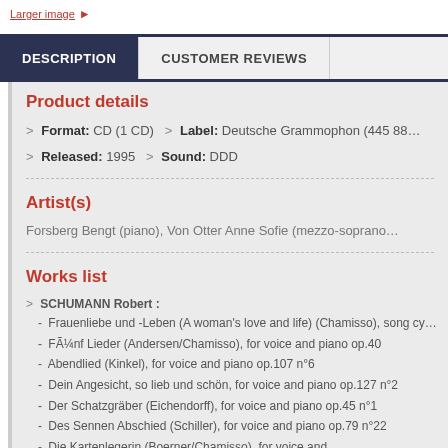Larger image
DESCRIPTION | CUSTOMER REVIEWS
Product details
> Format: CD (1 CD)  > Label: Deutsche Grammophon (445 88…
> Released: 1995  > Sound: DDD
Artist(s)
Forsberg Bengt (piano), Von Otter Anne Sofie (mezzo-soprano…
Works list
> SCHUMANN Robert :
- Frauenliebe und -Leben (A woman's love and life) (Chamisso), song cy…
- FÃ¼nf Lieder (Andersen/Chamisso), for voice and piano op.40
- Abendlied (Kinkel), for voice and piano op.107 n°6
- Dein Angesicht, so lieb und schön, for voice and piano op.127 n°2
- Der Schatzgräber (Eichendorff), for voice and piano op.45 n°1
- Des Sennen Abschied (Schiller), for voice and piano op.79 n°22